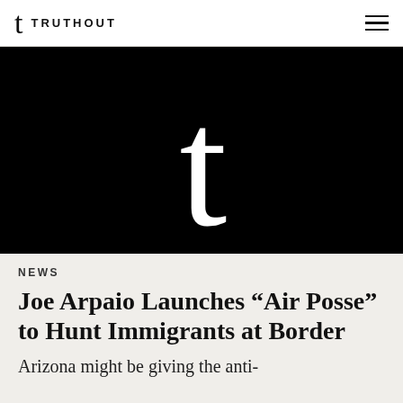t TRUTHOUT
[Figure (logo): Truthout large 't' logo on black background]
NEWS
Joe Arpaio Launches “Air Posse” to Hunt Immigrants at Border
Arizona might be giving the anti-